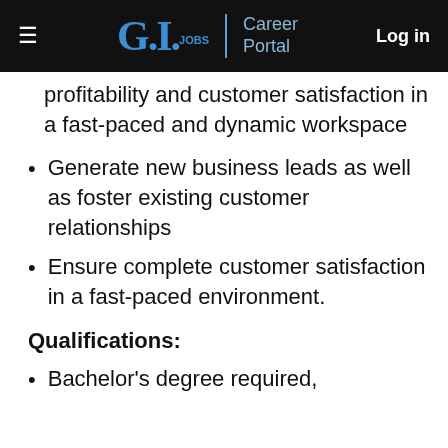G.I.JOBS | Career Portal  Log in
profitability and customer satisfaction in a fast-paced and dynamic workspace
Generate new business leads as well as foster existing customer relationships
Ensure complete customer satisfaction in a fast-paced environment.
Qualifications:
Bachelor's degree required,